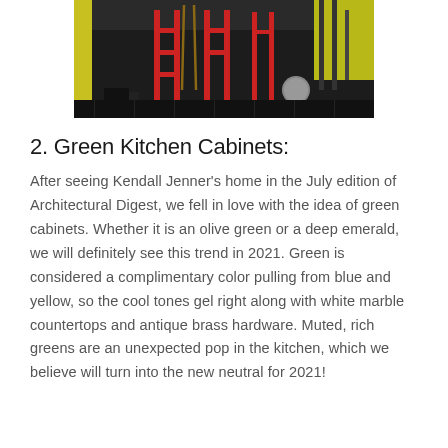[Figure (photo): Indoor gym/CrossFit facility with red power racks, ropes, and exercise equipment on rubber floor mats. Yellow accents visible on walls.]
2. Green Kitchen Cabinets:
After seeing Kendall Jenner’s home in the July edition of Architectural Digest, we fell in love with the idea of green cabinets. Whether it is an olive green or a deep emerald, we will definitely see this trend in 2021. Green is considered a complimentary color pulling from blue and yellow, so the cool tones gel right along with white marble countertops and antique brass hardware. Muted, rich greens are an unexpected pop in the kitchen, which we believe will turn into the new neutral for 2021!